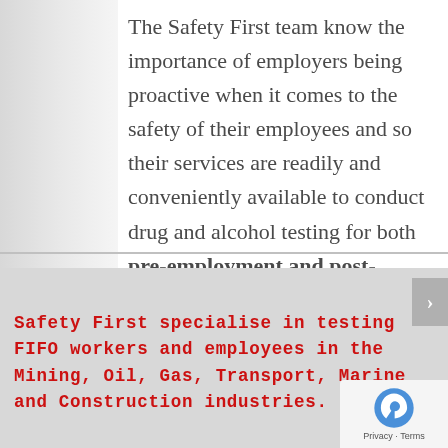The Safety First team know the importance of employers being proactive when it comes to the safety of their employees and so their services are readily and conveniently available to conduct drug and alcohol testing for both pre-employment and post-employment purposes.
Safety First specialise in testing FIFO workers and employees in the Mining, Oil, Gas, Transport, Marine and Construction industries.